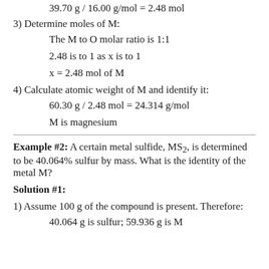39.70 g / 16.00 g/mol = 2.48 mol
3) Determine moles of M:
The M to O molar ratio is 1:1
2.48 is to 1 as x is to 1
x = 2.48 mol of M
4) Calculate atomic weight of M and identify it:
60.30 g / 2.48 mol = 24.314 g/mol
M is magnesium
Example #2: A certain metal sulfide, MS2, is determined to be 40.064% sulfur by mass. What is the identity of the metal M?
Solution #1:
1) Assume 100 g of the compound is present. Therefore:
40.064 g is sulfur; 59.936 g is M